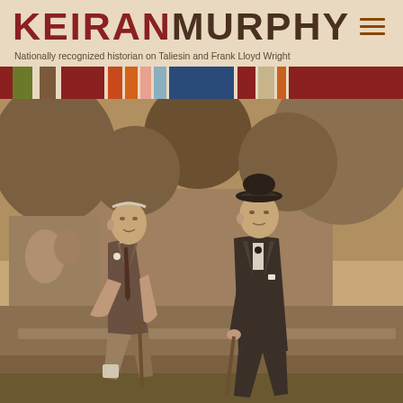KEIRANMURPHY
Nationally recognized historian on Taliesin and Frank Lloyd Wright
[Figure (photo): Sepia-toned photograph of two elderly men sitting on a bench outdoors, with stone relief sculptures visible in the background and foliage. Both men are in suits; one wears a hat and holds a cane.]
[Figure (infographic): Colored bar strip used as a decorative header accent, featuring vertical bars in green, olive, brown, red, orange, pink, light blue, dark blue, dark red, tan, and other colors.]